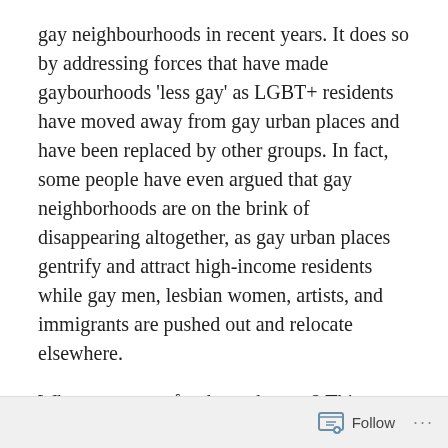gay neighbourhoods in recent years. It does so by addressing forces that have made gaybourhoods 'less gay' as LGBT+ residents have moved away from gay urban places and have been replaced by other groups. In fact, some people have even argued that gay neighborhoods are on the brink of disappearing altogether, as gay urban places gentrify and attract high-income residents while gay men, lesbian women, artists, and immigrants are pushed out and relocate elsewhere.

What are causes for these changes? This article weighs various explanations, including changes external to gaybourhoods (including changes in desires for segregating into neighbourhoods) and concludes that gentrification and the escalation of real estate markets has played a
Follow ···